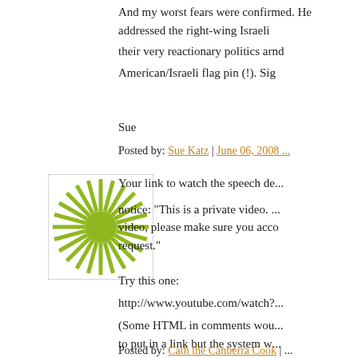And my worst fears were confirmed. He addressed the right-wing Israeli... their very reactionary politics and... American/Israeli flag pin (!). Si...
Sue
Posted by: Sue Katz | June 06, 2008 ...
[Figure (illustration): Green sunburst/starburst avatar icon on white background]
Your link to watch the speech de... notice: "This is a private video. ... video, please make sure you acc... request."
Try this one:
http://www.youtube.com/watch?...
(Some HTML in comments wou... to put in a link but the system w...
Posted by: Cath the Canberra Cook | ...